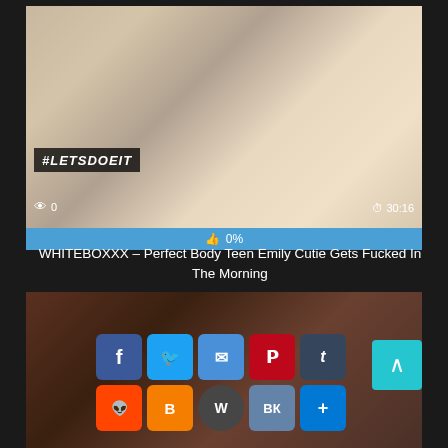[Figure (screenshot): Video thumbnail showing adult content with #LETSDOEIT watermark, 0 views, duration 30:16]
0%
WHITEBOXXX – Perfect Body Teen Emily Cutie Gets Fucked In The Morning
[Figure (screenshot): Second video thumbnail with social sharing buttons: Facebook, Twitter, Email, Pinterest, Tumblr, Reddit, Blogger, WordPress, VK, More]
[Figure (infographic): Scroll to top button (cyan arrow up)]